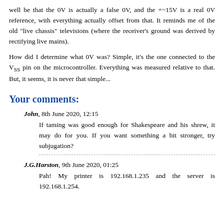well be that the 0V is actually a false 0V, and the +~15V is a real 0V reference, with everything actually offset from that. It reminds me of the old "live chassis" televisions (where the receiver's ground was derived by rectifying live mains).
How did I determine what 0V was? Simple, it's the one connected to the V_SS pin on the microcontroller. Everything was measured relative to that. But, it seems, it is never that simple...
Your comments:
John, 8th June 2020, 12:15 — If taming was good enough for Shakespeare and his shrew, it may do for you. If you want something a bit stronger, try subjugation?
J.G.Harston, 9th June 2020, 01:25 — Pah! My printer is 192.168.1.235 and the server is 192.168.1.254.